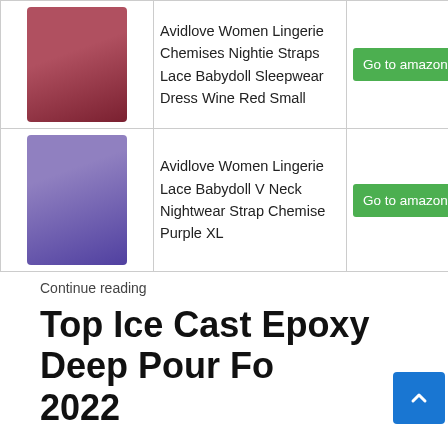| Image | Product Name | Link |
| --- | --- | --- |
| [red lingerie image] | Avidlove Women Lingerie Chemises Nightie Straps Lace Babydoll Sleepwear Dress Wine Red Small | Go to amazon.com |
| [purple lingerie image] | Avidlove Women Lingerie Lace Babydoll V Neck Nightwear Strap Chemise Purple XL | Go to amazon.com |
Continue reading
Top Ice Cast Epoxy Deep Pour For 2022